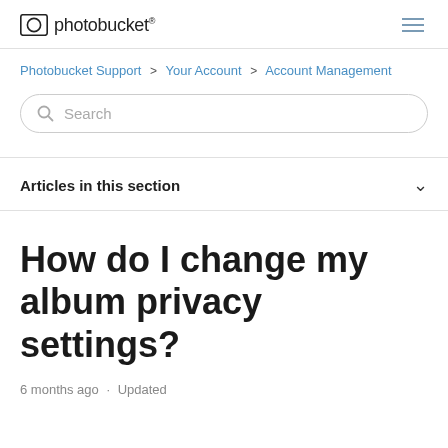photobucket
Photobucket Support > Your Account > Account Management
Search
Articles in this section
How do I change my album privacy settings?
6 months ago · Updated